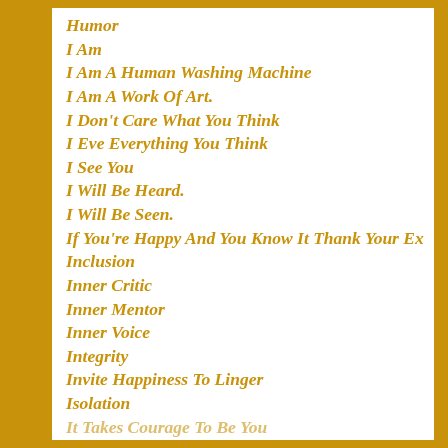Humor
I Am
I Am A Human Washing Machine
I Am A Work Of Art.
I Don't Care What You Think
I Eve Everything You Think
I See You
I Will Be Heard.
I Will Be Seen.
If You're Happy And You Know It Thank Your Ex
Inclusion
Inner Critic
Inner Mentor
Inner Voice
Integrity
Invite Happiness To Linger
Isolation
It Takes Courage To Be You